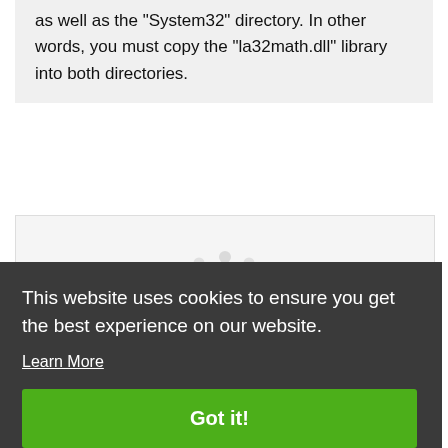as well as the "System32" directory. In other words, you must copy the "la32math.dll" library into both directories.
[Figure (other): Loading spinner animation indicator (circular dots arrangement)]
Step 3:Pasting the la32math.dll...
This website uses cookies to ensure you get the best experience on our website.
Learn More
Got it!